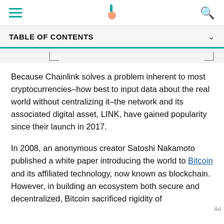[Navigation bar with hamburger menu, Bankrate logo, and search icon]
TABLE OF CONTENTS
Because Chainlink solves a problem inherent to most cryptocurrencies–how best to input data about the real world without centralizing it–the network and its associated digital asset, LINK, have gained popularity since their launch in 2017.
In 2008, an anonymous creator Satoshi Nakamoto published a white paper introducing the world to Bitcoin and its affiliated technology, now known as blockchain. However, in building an ecosystem both secure and decentralized, Bitcoin sacrificed rigidity of